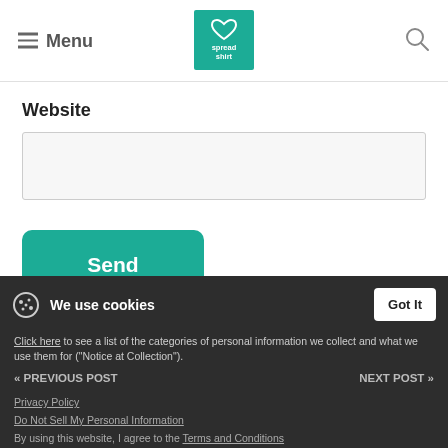Menu | Spreadshirt logo | Search
Website
Send
We use cookies
Click here to see a list of the categories of personal information we collect and what we use them for ("Notice at Collection").
« PREVIOUS POST
NEXT POST »
Privacy Policy
Do Not Sell My Personal Information
By using this website, I agree to the Terms and Conditions